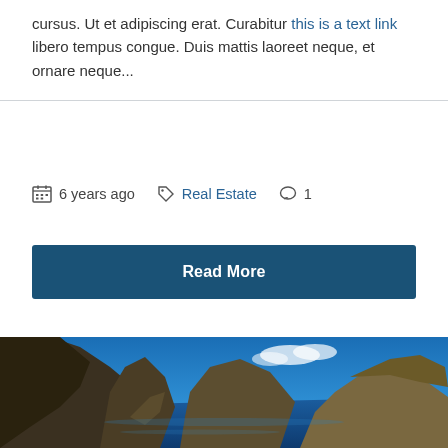cursus. Ut et adipiscing erat. Curabitur this is a text link libero tempus congue. Duis mattis laoreet neque, et ornare neque...
6 years ago  Real Estate  1
Read More
[Figure (photo): Coastal rocky cliffs with deep blue sea and mountains in background under blue sky with clouds]